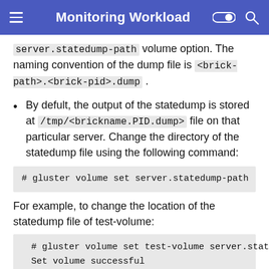Monitoring Workload
server.statedump-path volume option. The naming convention of the dump file is <brick-path>.<brick-pid>.dump .
By defult, the output of the statedump is stored at /tmp/<brickname.PID.dump> file on that particular server. Change the directory of the statedump file using the following command:
# gluster volume set server.statedump-path
For example, to change the location of the statedump file of test-volume:
# gluster volume set test-volume server.statedump-pa
Set volume successful